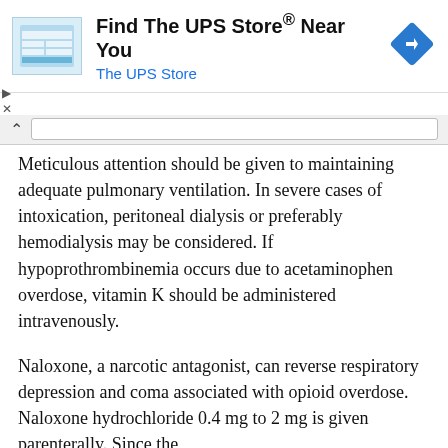[Figure (other): Advertisement banner for The UPS Store with logo icon, text 'Find The UPS Store® Near You' and 'The UPS Store', and a blue navigation arrow diamond icon]
Meticulous attention should be given to maintaining adequate pulmonary ventilation. In severe cases of intoxication, peritoneal dialysis or preferably hemodialysis may be considered. If hypoprothrombinemia occurs due to acetaminophen overdose, vitamin K should be administered intravenously.
Naloxone, a narcotic antagonist, can reverse respiratory depression and coma associated with opioid overdose. Naloxone hydrochloride 0.4 mg to 2 mg is given parenterally. Since the